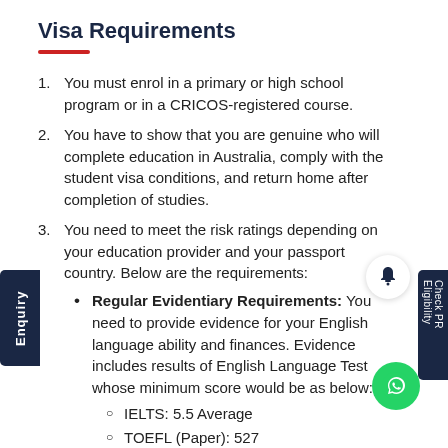Visa Requirements
You must enrol in a primary or high school program or in a CRICOS-registered course.
You have to show that you are genuine who will complete education in Australia, comply with the student visa conditions, and return home after completion of studies.
You need to meet the risk ratings depending on your education provider and your passport country. Below are the requirements:
Regular Evidentiary Requirements: You need to provide evidence for your English language ability and finances. Evidence includes results of English Language Test whose minimum score would be as below:
IELTS: 5.5 Average
TOEFL (Paper): 527